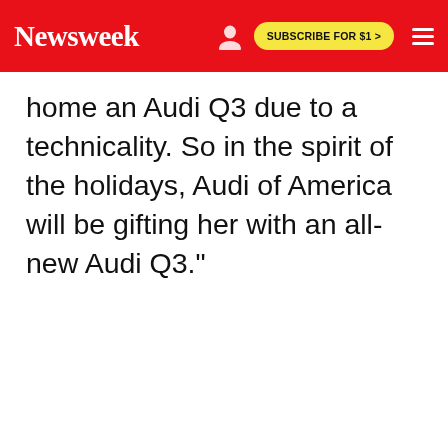Newsweek | SUBSCRIBE FOR $1 >
home an Audi Q3 due to a technicality. So in the spirit of the holidays, Audi of America will be gifting her with an all-new Audi Q3."